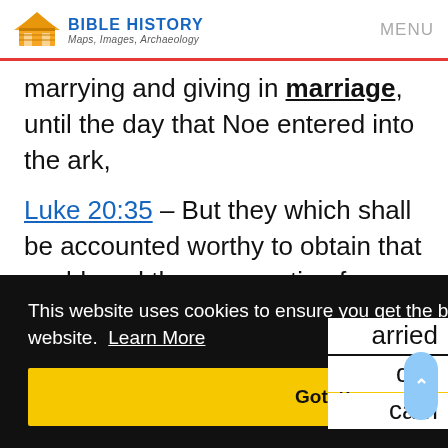[Figure (logo): Bible History logo with building icon, text BIBLE HISTORY Maps, Images, Archaeology, and MENU navigation]
marrying and giving in marriage, until the day that Noe entered into the ark,
Luke 20:35 – But they which shall be accounted worthy to obtain that world, and the resurrection from the dead, neither marry, nor are given in [marriage:] [married] [day] [cam...]
This website uses cookies to ensure you get the best experience on our website. Learn More
Got it!